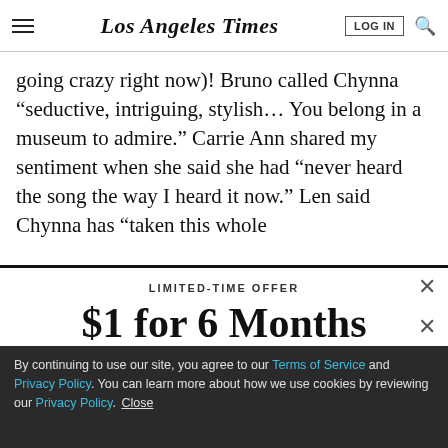Los Angeles Times
going crazy right now)! Bruno called Chynna “seductive, intriguing, stylish… You belong in a museum to admire.” Carrie Ann shared my sentiment when she said she had “never heard the song the way I heard it now.” Len said Chynna has “taken this whole
LIMITED-TIME OFFER
$1 for 6 Months
SUBSCRIBE NOW
By continuing to use our site, you agree to our Terms of Service and Privacy Policy. You can learn more about how we use cookies by reviewing our Privacy Policy. Close